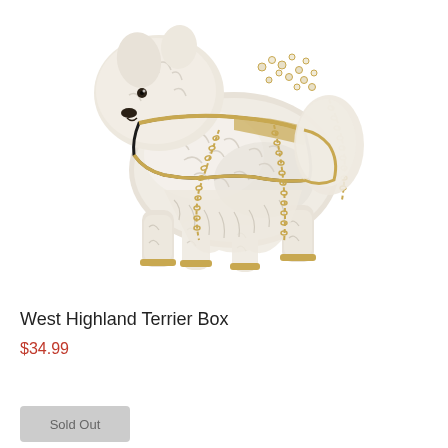[Figure (photo): A white West Highland Terrier decorative trinket box figurine with gold metal trim chains and crystal rhinestone embellishments on the back, displayed against a white background.]
West Highland Terrier Box
$34.99
Sold Out